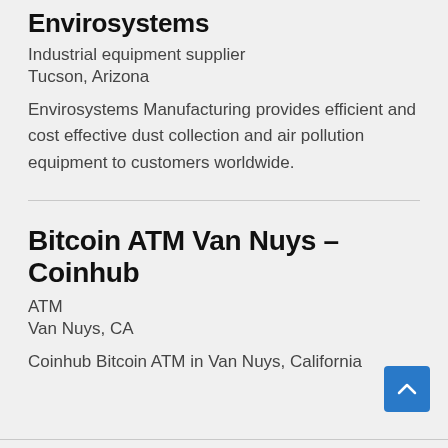Envirosystems
Industrial equipment supplier
Tucson, Arizona
Envirosystems Manufacturing provides efficient and cost effective dust collection and air pollution equipment to customers worldwide.
Bitcoin ATM Van Nuys – Coinhub
ATM
Van Nuys, CA
Coinhub Bitcoin ATM in Van Nuys, California